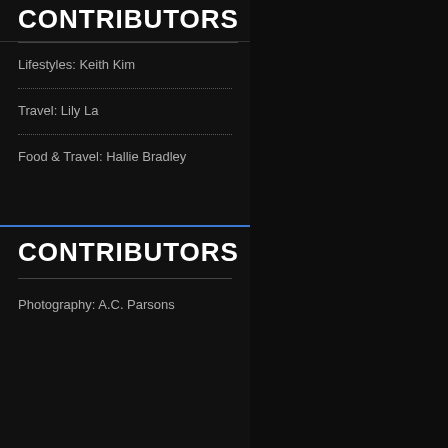CONTRIBUTORS
Lifestyles: Keith Kim
Travel: Lily La
Food & Travel: Hallie Bradley
CONTRIBUTORS
Photography: A.C. Parsons